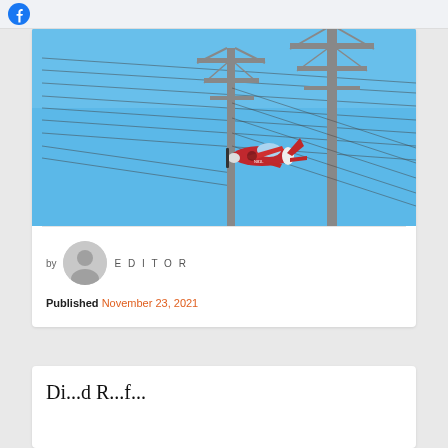Facebook
[Figure (photo): A red and white propeller aircraft flying low between high-voltage electrical transmission towers against a clear blue sky.]
by EDITOR
Published November 23, 2021
Di...d R...f...